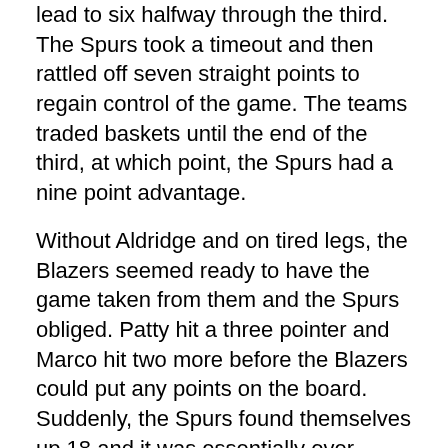lead to six halfway through the third. The Spurs took a timeout and then rattled off seven straight points to regain control of the game. The teams traded baskets until the end of the third, at which point, the Spurs had a nine point advantage.
Without Aldridge and on tired legs, the Blazers seemed ready to have the game taken from them and the Spurs obliged. Patty hit a three pointer and Marco hit two more before the Blazers could put any points on the board. Suddenly, the Spurs found themselves up 18 and it was essentially over. From there, the Spurs cruised to their eighth-straight win, 103-90.
For Portland's perspective, please visit the Blazer's Edge.